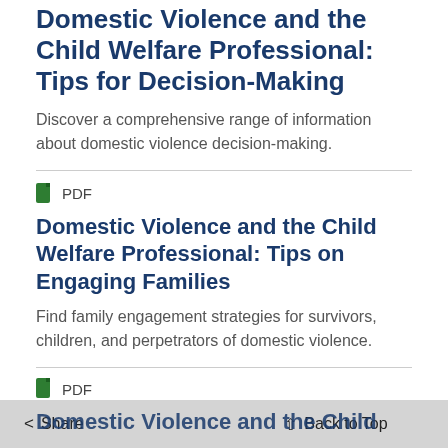Domestic Violence and the Child Welfare Professional: Tips for Decision-Making
Discover a comprehensive range of information about domestic violence decision-making.
PDF
Domestic Violence and the Child Welfare Professional: Tips on Engaging Families
Find family engagement strategies for survivors, children, and perpetrators of domestic violence.
PDF
Domestic Violence and the Child...
< Share
↑ Back to Top